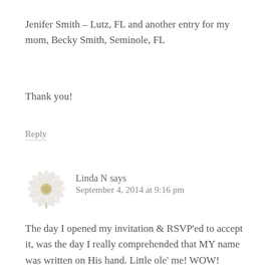Jenifer Smith – Lutz, FL and another entry for my mom, Becky Smith, Seminole, FL
Thank you!
Reply
Linda N says
September 4, 2014 at 9:16 pm
The day I opened my invitation & RSVP'ed to accept it, was the day I really comprehended that MY name was written on His hand. Little ole' me! WOW!